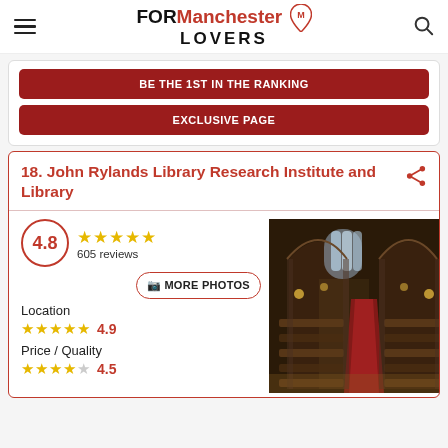FORManchester LOVERS
BE THE 1ST IN THE RANKING
EXCLUSIVE PAGE
18. John Rylands Library Research Institute and Library
4.8 ★★★★★ 605 reviews
MORE PHOTOS
Location
★★★★★ 4.9
Price / Quality
★★★★☆ 4.5
[Figure (photo): Interior of John Rylands Library showing Gothic architecture with arched ceiling, stained glass window, red carpet runner, and wooden pews/reading desks illuminated by warm lighting]